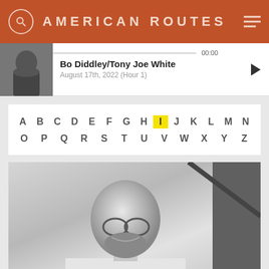AMERICAN ROUTES
Bo Diddley/Tony Joe White
August 17th, 2022 (Hour 1)
00:00
[Figure (screenshot): Alphabet navigation bar with letters A through Z, letter I highlighted in yellow]
[Figure (photo): Black and white photograph of a bald man with glasses and a beard wearing a white shirt, smiling, seated at what appears to be a piano]